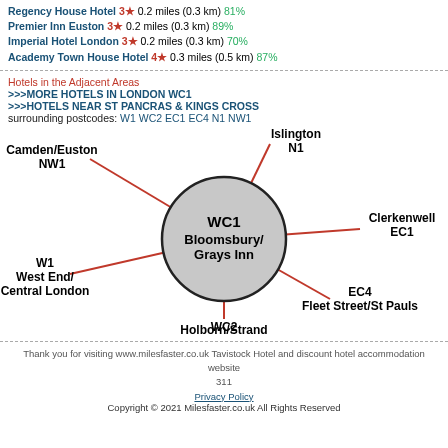Regency House Hotel 3★ 0.2 miles (0.3 km) 81%
Premier Inn Euston 3★ 0.2 miles (0.3 km) 89%
Imperial Hotel London 3★ 0.2 miles (0.3 km) 70%
Academy Town House Hotel 4★ 0.3 miles (0.5 km) 87%
Hotels in the Adjacent Areas
>>>MORE HOTELS IN LONDON WC1
>>>HOTELS NEAR ST PANCRAS & KINGS CROSS
surrounding postcodes: W1 WC2 EC1 EC4 N1 NW1
[Figure (network-graph): Network diagram showing WC1 Bloomsbury/Grays Inn as central node connected by red lines to surrounding areas: Camden/Euston NW1 (top-left), Islington N1 (top), Clerkenwell EC1 (right), EC4 Fleet Street/St Pauls (bottom-right), WC2 Holborn/Strand (bottom), W1 West End/Central London (left)]
Thank you for visiting www.milesfaster.co.uk Tavistock Hotel and discount hotel accommodation website 311
Privacy Policy
Copyright © 2021 Milesfaster.co.uk All Rights Reserved